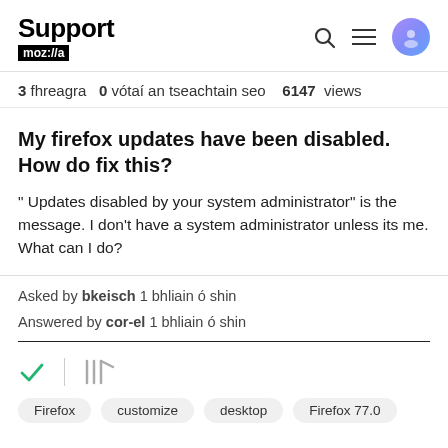Support mozilla // (with search, menu, and user icons)
3 fhreagra   0 vótaí an tseachtain seo   6147 views
My firefox updates have been disabled. How do fix this?
" Updates disabled by your system administrator" is the message. I don't have a system administrator unless its me. What can I do?
Asked by bkeisch 1 bhliain ó shin
Answered by cor-el 1 bhliain ó shin
Tags: Firefox, customize, desktop, Firefox 77.0